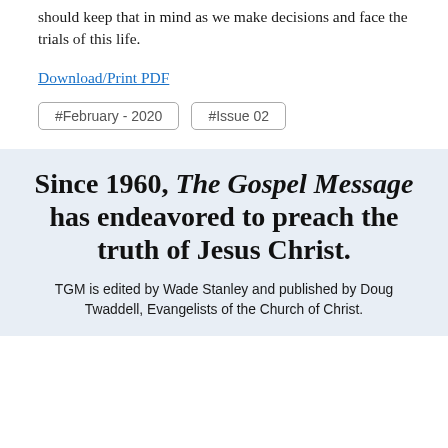should keep that in mind as we make decisions and face the trials of this life.
Download/Print PDF
#February - 2020
#Issue 02
Since 1960, The Gospel Message has endeavored to preach the truth of Jesus Christ.
TGM is edited by Wade Stanley and published by Doug Twaddell, Evangelists of the Church of Christ.